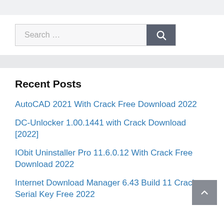[Figure (other): Search bar with text input field showing placeholder 'Search …' and a dark blue-grey search button with magnifying glass icon]
Recent Posts
AutoCAD 2021 With Crack Free Download 2022
DC-Unlocker 1.00.1441 with Crack Download [2022]
IObit Uninstaller Pro 11.6.0.12 With Crack Free Download 2022
Internet Download Manager 6.43 Build 11 Crack + Serial Key Free 2022